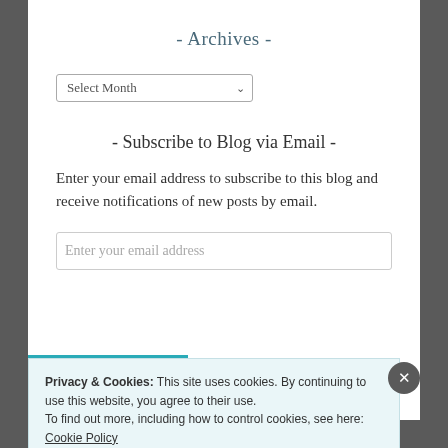- Archives -
Select Month
- Subscribe to Blog via Email -
Enter your email address to subscribe to this blog and receive notifications of new posts by email.
Enter your email address
Privacy & Cookies: This site uses cookies. By continuing to use this website, you agree to their use. To find out more, including how to control cookies, see here: Cookie Policy
Close and accept